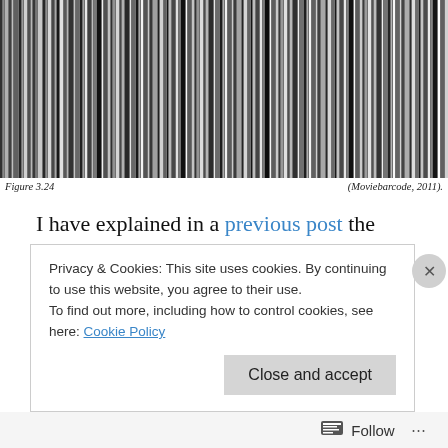[Figure (continuous-plot): Movie barcode image — vertical grayscale stripes of varying widths and intensities representing frames of a film compressed into a barcode-like visualization.]
Figure 3.24	(Moviebarcode, 2011).
I have explained in a previous post the significance of cinematic colour complexion to aid our ability to "feel" a film. You can read my entire thesis on Aronofsky and phenomenology by following this link. In my series on the
Privacy & Cookies: This site uses cookies. By continuing to use this website, you agree to their use.
To find out more, including how to control cookies, see here: Cookie Policy
Close and accept
Follow ...